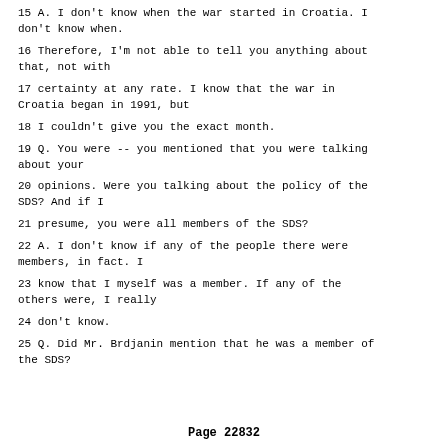15 A. I don't know when the war started in Croatia. I don't know when.
16 Therefore, I'm not able to tell you anything about that, not with
17 certainty at any rate. I know that the war in Croatia began in 1991, but
18 I couldn't give you the exact month.
19 Q. You were -- you mentioned that you were talking about your
20 opinions. Were you talking about the policy of the SDS? And if I
21 presume, you were all members of the SDS?
22 A. I don't know if any of the people there were members, in fact. I
23 know that I myself was a member. If any of the others were, I really
24 don't know.
25 Q. Did Mr. Brdjanin mention that he was a member of the SDS?
Page 22832